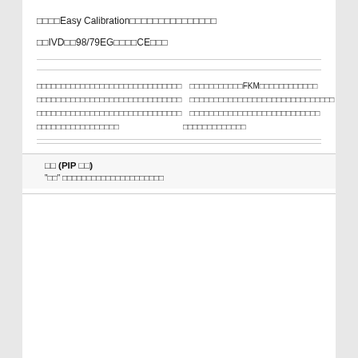□□□□Easy Calibration□□□□□□□□□□□□□□□
□□IVD□□98/79EG□□□□CE□□□
□□□□□□□□□□□□□□□□□□□□□□□□□□□□□□□□FKM□□□□□□□□□□□□
□□□□□□□□□□□□□□□□□□□□□□□□□□□□□□□□□□□□□□□□□□□
□□□□□□□□□□□□□□□□□□□□□□□□□□□□□□□□□□□□□□□□□□□□
□□□□□□□□□□□□□□□□□□□□□□□□□□□□□□□□□□□□
□□ (PIP □□)
"□□" □□□□□□□□□□□□□□□□□□□□□